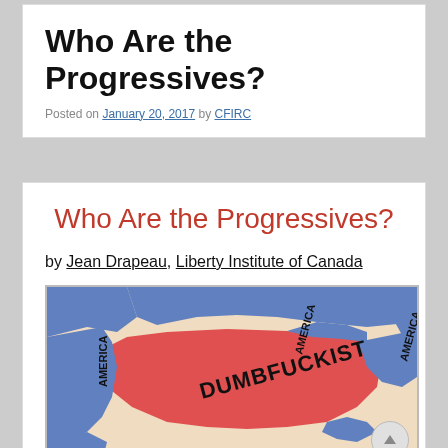Who Are the Progressives?
Posted on January 20, 2017 by CFIRC
Who Are the Progressives?
by Jean Drapeau, Liberty Institute of Canada
[Figure (map): Map of North America colored red (labeled DUMBFUCKIST) in the center/heartland and blue (labeled AMERICA) on the coasts and Canada, showing a political commentary map.]